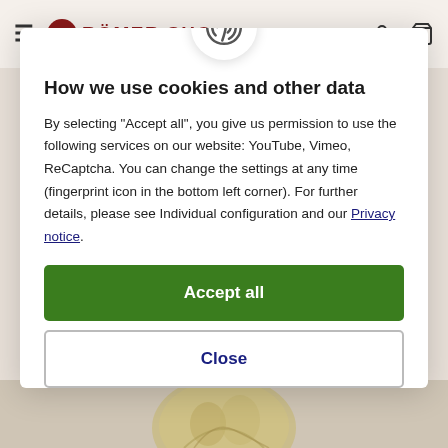[Figure (screenshot): Website navbar showing hamburger menu, Römer Shop logo with eagle icon, EN language selector, user icon, and cart icon on a light beige background]
[Figure (screenshot): Cookie consent modal dialog with fingerprint icon at top, title, body text, Accept all green button, Close outlined button, and Configuration text link]
How we use cookies and other data
By selecting "Accept all", you give us permission to use the following services on our website: YouTube, Vimeo, ReCaptcha. You can change the settings at any time (fingerprint icon in the bottom left corner). For further details, please see Individual configuration and our Privacy notice.
Accept all
Close
Configuration
[Figure (photo): Partial view of a Roman coin or medallion with figures at bottom of page]